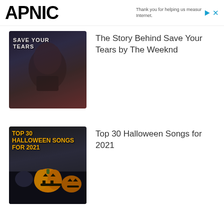APNIC — Thank you for helping us measure the Internet.
[Figure (photo): Album artwork for Save Your Tears by The Weeknd — dark illustrated portrait with text 'SAVE YOUR TEARS']
The Story Behind Save Your Tears by The Weeknd
[Figure (photo): Playlist cover for Top 30 Halloween Songs for 2021 — dark background with jack-o-lantern pumpkins and orange text]
Top 30 Halloween Songs for 2021